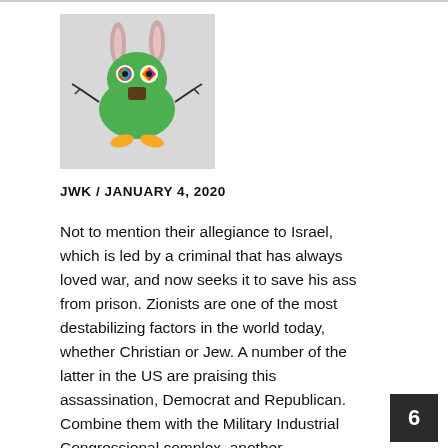[Figure (illustration): Cartoon avatar of a green alien-like creature with bunny ears, colorful eyes, stick arms, a brown nose, and yellow feet, on a light gray background.]
JWK / JANUARY 4, 2020
Not to mention their allegiance to Israel, which is led by a criminal that has always loved war, and now seeks it to save his ass from prison. Zionists are one of the most destabilizing factors in the world today, whether Christian or Jew. A number of the latter in the US are praising this assassination, Democrat and Republican. Combine them with the Military Industrial Congressional complex, another
6